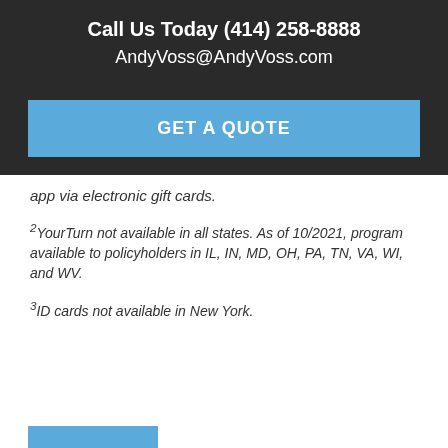Call Us Today (414) 258-8888
AndyVoss@AndyVoss.com
GET A QUOTE
app via electronic gift cards.
2YourTurn not available in all states. As of 10/2021, program available to policyholders in IL, IN, MD, OH, PA, TN, VA, WI, and WV.
3ID cards not available in New York.